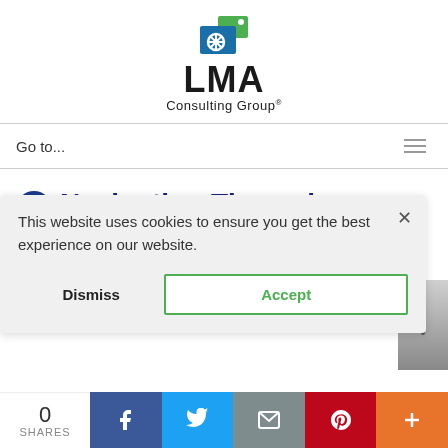[Figure (logo): LMA Consulting Group logo with green and blue icon]
Go to...
Navigating Through Volatility Webinar Series 2020
This website uses cookies to ensure you get the best experience on our website.
Dismiss   Accept
0 SHARES